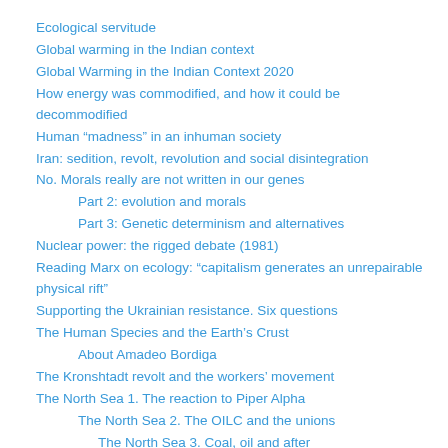Ecological servitude
Global warming in the Indian context
Global Warming in the Indian Context 2020
How energy was commodified, and how it could be decommodified
Human “madness” in an inhuman society
Iran: sedition, revolt, revolution and social disintegration
No. Morals really are not written in our genes
Part 2: evolution and morals
Part 3: Genetic determinism and alternatives
Nuclear power: the rigged debate (1981)
Reading Marx on ecology: “capitalism generates an unrepairable physical rift”
Supporting the Ukrainian resistance. Six questions
The Human Species and the Earth’s Crust
About Amadeo Bordiga
The Kronshtadt revolt and the workers’ movement
The North Sea 1. The reaction to Piper Alpha
The North Sea 2. The OILC and the unions
The North Sea 3. Coal, oil and after
The North Sea 4: the Blowout archive